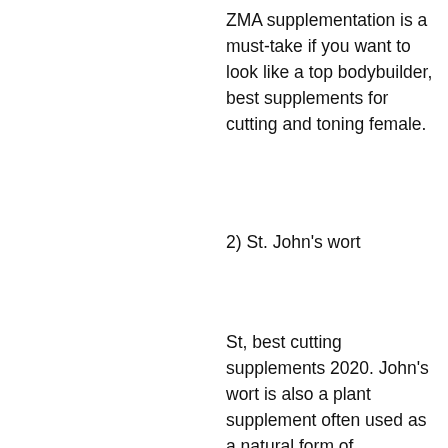ZMA supplementation is a must-take if you want to look like a top bodybuilder, best supplements for cutting and toning female.
2) St. John's wort
St, best cutting supplements 2020. John's wort is also a plant supplement often used as a natural form of performance enhancer. It has an array of potential performance-enhancing effects and is one of the oldest and most common supplements known to bodybuilders, crazy bulk contact number.
St. John's wort may be one of the best supplements for your next mass contest, cutting stack anabolic.